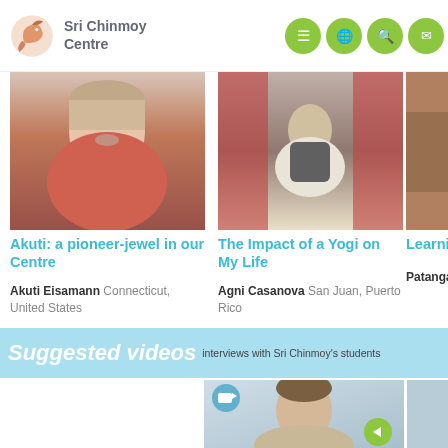Sri Chinmoy Centre
[Figure (photo): Woman in red dress, article photo for Akuti]
Akuti: a pioneer-jewel in our Centre
Akuti Eisamann Connecticut, United States
[Figure (photo): Man in suit meditating, article photo for The Impact of a Yogi]
The Impact of a Yogi on My Life
Agni Casanova San Juan, Puerto Rico
[Figure (photo): Partial photo, article about learning, Patanga, Brazil]
Learning... ever mo...
Patanga G... Brazil
Suggested videos interviews with Sri Chinmoy's students
[Figure (photo): Video thumbnail with quote: Try not to change the world. You will fail. Try to love the world. Lo, the world is changed. Changed for you.]
[Figure (photo): Video thumbnail showing young man portrait]
[Figure (photo): Partial video thumbnail]